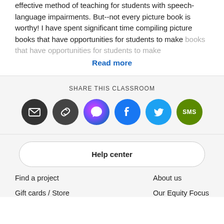effective method of teaching for students with speech-language impairments. But--not every picture book is worthy! I have spent significant time compiling picture books that have opportunities for students to make
Read more
SHARE THIS CLASSROOM
[Figure (infographic): Six social sharing icon buttons in circles: Email (dark gray), Link (dark gray), Messenger (purple-pink gradient), Facebook (blue), Twitter (cyan), SMS (green)]
Help center
Find a project
About us
Gift cards / Store
Our Equity Focus